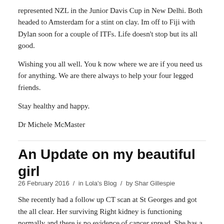represented NZL in the Junior Davis Cup in New Delhi. Both headed to Amsterdam for a stint on clay. Im off to Fiji with Dylan soon for a couple of ITFs. Life doesn't stop but its all good.
Wishing you all well. You k now where we are if you need us for anything. We are there always to help your four legged friends.
Stay healthy and happy.
Dr Michele McMaster
An Update on my beautiful girl
26 February 2016 / in Lola's Blog / by Shar Gillespie
She recently had a follow up CT scan at St Georges and got the all clear. Her surviving Right kidney is functioning normally and there is no evidence of cancer spread. She has a few pulmonary (lung) nodules but they were present on the first